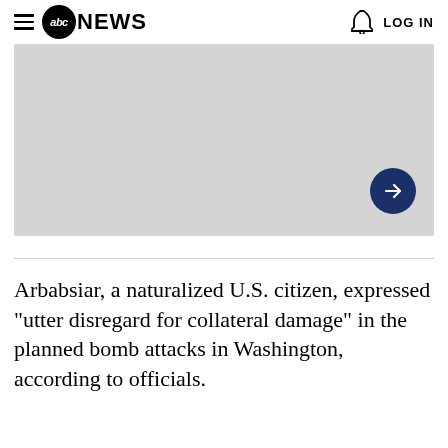abc NEWS  LOG IN
[Figure (screenshot): Gray placeholder image area with a dark navy blue circular arrow button in the bottom right corner]
Arbabsiar, a naturalized U.S. citizen, expressed "utter disregard for collateral damage" in the planned bomb attacks in Washington, according to officials.